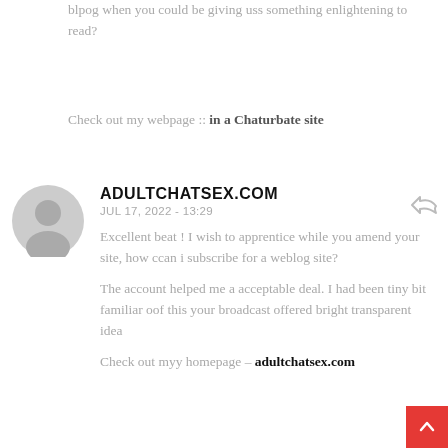blpog when you could be giving uss something enlightening to read?
Check out my webpage :: in a Chaturbate site
ADULTCHATSEX.COM
JUL 17, 2022 - 13:29
Excellent beat ! I wish to apprentice while you amend your site, how ccan i subscribe for a weblog site?
The account helped me a acceptable deal. I had been tiny bit familiar oof this your broadcast offered bright transparent idea
Check out myy homepage – adultchatsex.com